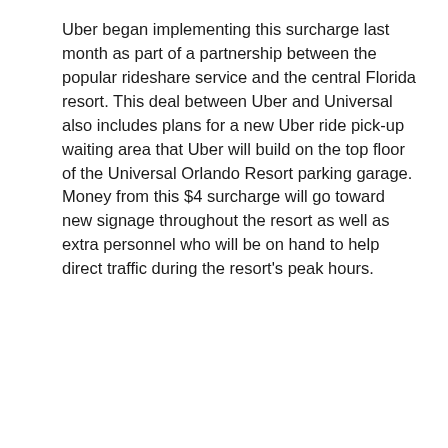Uber began implementing this surcharge last month as part of a partnership between the popular rideshare service and the central Florida resort. This deal between Uber and Universal also includes plans for a new Uber ride pick-up waiting area that Uber will build on the top floor of the Universal Orlando Resort parking garage. Money from this $4 surcharge will go toward new signage throughout the resort as well as extra personnel who will be on hand to help direct traffic during the resort's peak hours.